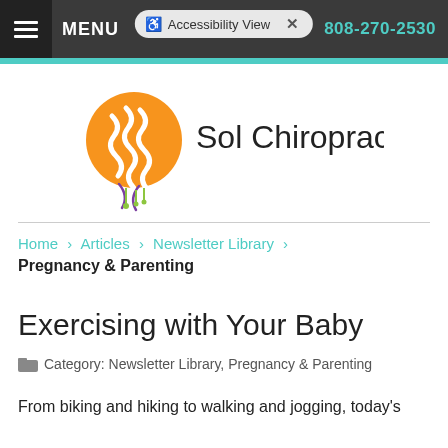MENU  |  Accessibility View  ×  |  808-270-2530
[Figure (logo): Sol Chiropractic logo with orange sun and DNA helix graphic and text 'Sol Chiropractic']
Home > Articles > Newsletter Library > Pregnancy & Parenting
Exercising with Your Baby
Category: Newsletter Library, Pregnancy & Parenting
From biking and hiking to walking and jogging, today's